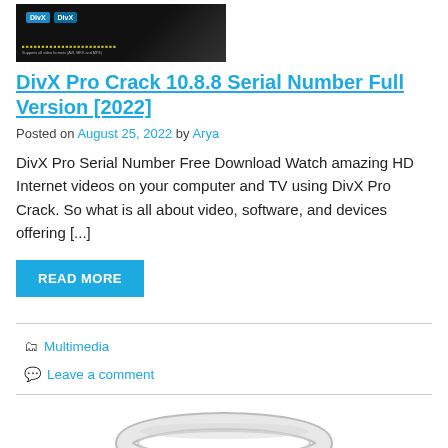[Figure (screenshot): Thumbnail image of DivX Pro software showing dark background with DivX logos and yellow text]
DivX Pro Crack 10.8.8 Serial Number Full Version [2022]
Posted on August 25, 2022 by Arya
DivX Pro Serial Number Free Download Watch amazing HD Internet videos on your computer and TV using DivX Pro Crack. So what is all about video, software, and devices offering [...]
READ MORE
Multimedia
Leave a comment
[Figure (photo): Partial view of a gray ring/torus shaped object on white background]